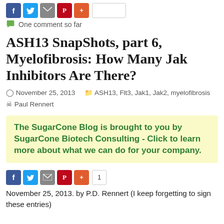[Figure (other): Social sharing buttons: Facebook, Twitter, Email, Pinterest, Plus, and a count button at top]
One comment so far
ASH13 SnapShots, part 6, Myelofibrosis: How Many Jak Inhibitors Are There?
November 25, 2013   ASH13, Flt3, Jak1, Jak2, myelofibrosis   Paul Rennert
The SugarCone Blog is brought to you by SugarCone Biotech Consulting - Click to learn more about what we can do for your company.
[Figure (other): Social sharing buttons: Facebook, Twitter, Email, Pinterest, Plus, count=1]
November 25, 2013. by P.D. Rennert (I keep forgetting to sign these entries)